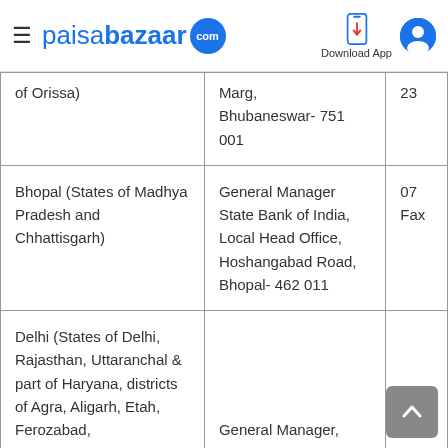paisabazaar.com — Download App
| Circle | Address | Contact |
| --- | --- | --- |
| of Orissa) | Marg, Bhubaneswar- 751 001 | 23... |
| Bhopal (States of Madhya Pradesh and Chhattisgarh) | General Manager State Bank of India, Local Head Office, Hoshangabad Road, Bhopal- 462 011 | 07... Fax... |
| Delhi (States of Delhi, Rajasthan, Uttaranchal & part of Haryana, districts of Agra, Aligarh, Etah, Ferozabad, | General Manager, |  |